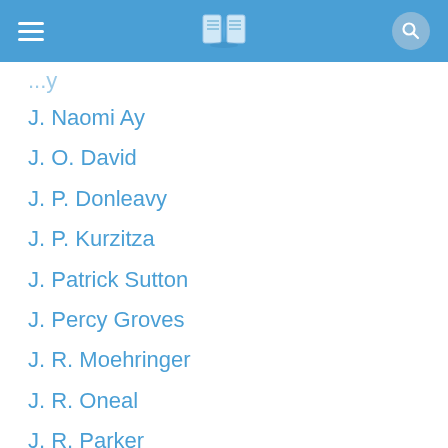Header bar with menu, book icon, and search
J. Naomi Ay
J. O. David
J. P. Donleavy
J. P. Kurzitza
J. Patrick Sutton
J. Percy Groves
J. R. Moehringer
J. R. Oneal
J. R. Parker
J. R. R. Tolkien
J. R. Rain
J. R. Ward
J. Richard Singleton
J. Robert Kennedy (partial)